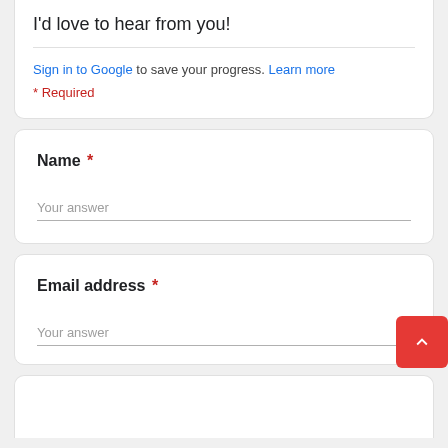I'd love to hear from you!
Sign in to Google to save your progress. Learn more
* Required
Name *
Your answer
Email address *
Your answer